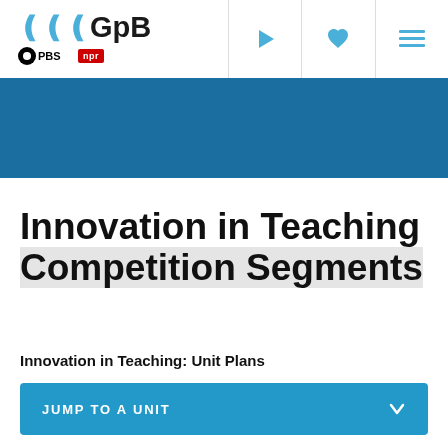GPB | PBS | NPR
[Figure (logo): GPB logo with PBS and NPR sub-logos, and navigation icons (play, heart, menu)]
[Figure (illustration): Blue decorative banner/header area]
Innovation in Teaching Competition Segments
Innovation in Teaching: Unit Plans
JUMP TO A UNIT